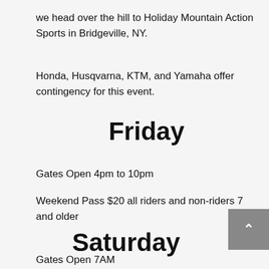we head over the hill to Holiday Mountain Action Sports in Bridgeville, NY.
Honda, Husqvarna, KTM, and Yamaha offer contingency for this event.
Friday
Gates Open 4pm to 10pm
Weekend Pass $20 all riders and non-riders 7 and older
Saturday
Gates Open 7AM